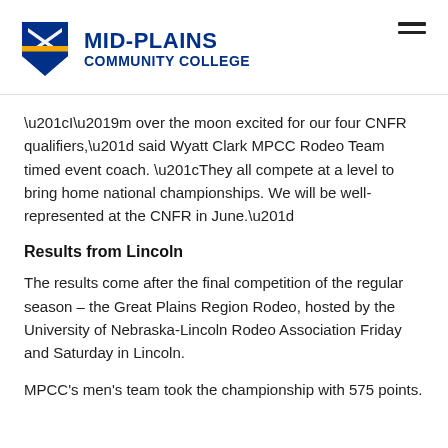MID-PLAINS COMMUNITY COLLEGE
“I’m over the moon excited for our four CNFR qualifiers,” said Wyatt Clark MPCC Rodeo Team timed event coach. “They all compete at a level to bring home national championships. We will be well-represented at the CNFR in June.”
Results from Lincoln
The results come after the final competition of the regular season – the Great Plains Region Rodeo, hosted by the University of Nebraska-Lincoln Rodeo Association Friday and Saturday in Lincoln.
MPCC’s men’s team took the championship with 575 points.